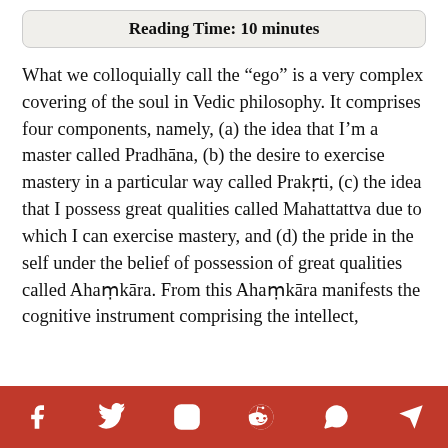Reading Time: 10 minutes
What we colloquially call the “ego” is a very complex covering of the soul in Vedic philosophy. It comprises four components, namely, (a) the idea that I’m a master called Pradhāna, (b) the desire to exercise mastery in a particular way called Prakṛti, (c) the idea that I possess great qualities called Mahattattva due to which I can exercise mastery, and (d) the pride in the self under the belief of possession of great qualities called Ahaṃkāra. From this Ahaṃkāra manifests the cognitive instrument comprising the intellect,